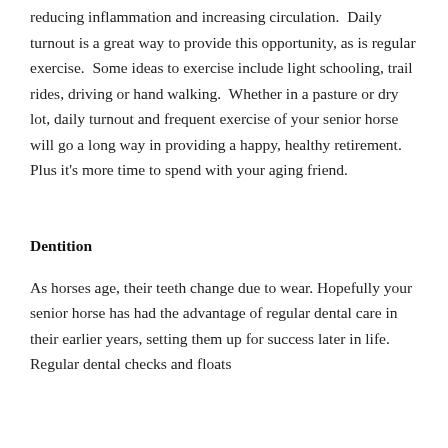reducing inflammation and increasing circulation.  Daily turnout is a great way to provide this opportunity, as is regular exercise.  Some ideas to exercise include light schooling, trail rides, driving or hand walking.  Whether in a pasture or dry lot, daily turnout and frequent exercise of your senior horse will go a long way in providing a happy, healthy retirement. Plus it's more time to spend with your aging friend.
Dentition
As horses age, their teeth change due to wear. Hopefully your senior horse has had the advantage of regular dental care in their earlier years, setting them up for success later in life.  Regular dental checks and floats